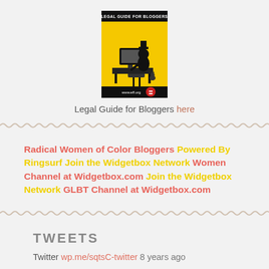[Figure (logo): Legal Guide for Bloggers badge — yellow background with black cartoon figure at a computer, red circle element at bottom, text 'LEGAL GUIDE FOR BLOGGERS' at top and 'www.eff.org' at bottom]
Legal Guide for Bloggers here
Radical Women of Color Bloggers Powered By Ringsurf Join the Widgetbox Network Women Channel at Widgetbox.com Join the Widgetbox Network GLBT Channel at Widgetbox.com
TWEETS
Twitter wp.me/sqtsC-twitter 8 years ago
I Remember wp.me/pqtsC-2qN 8 years ago